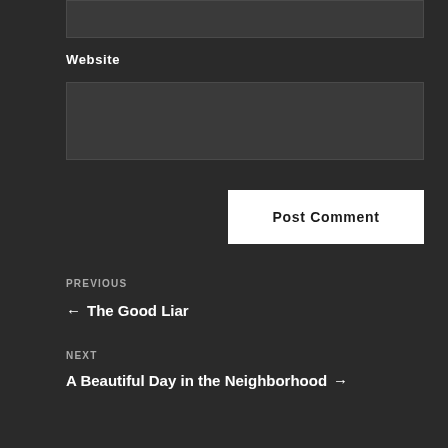[Figure (screenshot): Dark input field at top of page]
Website
[Figure (screenshot): Website text input field]
Post Comment
PREVIOUS
← The Good Liar
NEXT
A Beautiful Day in the Neighborhood →